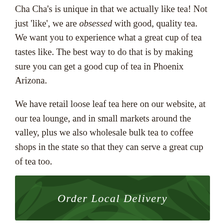Cha Cha's is unique in that we actually like tea! Not just 'like', we are obsessed with good, quality tea. We want you to experience what a great cup of tea tastes like. The best way to do that is by making sure you can get a good cup of tea in Phoenix Arizona.
We have retail loose leaf tea here on our website, at our tea lounge, and in small markets around the valley, plus we also wholesale bulk tea to coffee shops in the state so that they can serve a great cup of tea too.
[Figure (other): Green button with fern/leaf background texture and white italic text reading 'Order Local Delivery']
So, what are we known for?